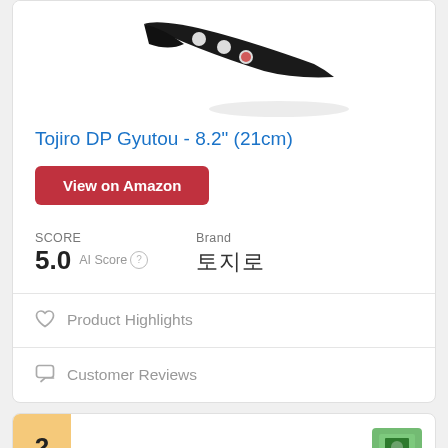[Figure (photo): Black knife with circular hole in handle, viewed diagonally from above, on white background with subtle shadow]
Tojiro DP Gyutou - 8.2" (21cm)
View on Amazon
SCORE
5.0  AI Score
Brand
토지로
♡  Product Highlights
Customer Reviews
[Figure (photo): Second product card partially visible, showing number 2 badge and partial green product image]